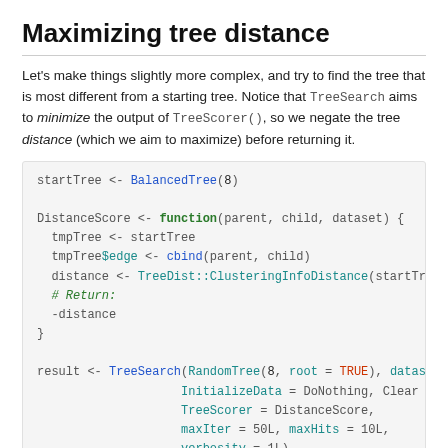Maximizing tree distance
Let's make things slightly more complex, and try to find the tree that is most different from a starting tree. Notice that TreeSearch aims to minimize the output of TreeScorer(), so we negate the tree distance (which we aim to maximize) before returning it.
[Figure (screenshot): R code block showing: startTree <- BalancedTree(8), DistanceScore <- function(parent, child, dataset) { tmpTree <- startTree, tmpTree$edge <- cbind(parent, child), distance <- TreeDist::ClusteringInfoDistance(startTr..., # Return:, -distance, }, result <- TreeSearch(RandomTree(8, root = TRUE), datas..., InitializeData = DoNothing, Clear..., TreeScorer = DistanceScore,, maxIter = 50L, maxHits = 10L, verbosity = 1L)]